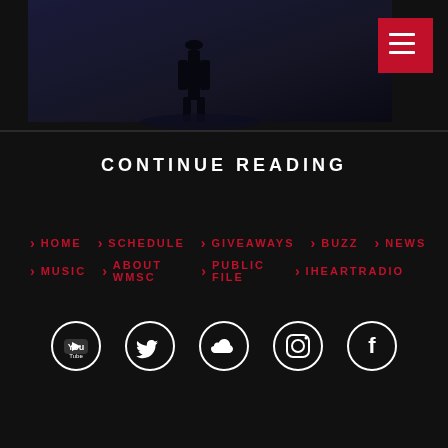[Figure (photo): Dark concert/performance photo with silhouette figure, dark blue and black tones. Red hamburger menu button in top right corner.]
CONTINUE READING
> HOME
> SCHEDULE
> GIVEAWAYS
> BUZZ
> NEWS
> MUSIC
> ABOUT WMSC
> PUBLIC FILE
> IHEARTRADIO
[Figure (illustration): Row of 5 social media icons (circular white outlines on dark background): YouTube, Twitter, SoundCloud, Instagram, Facebook]